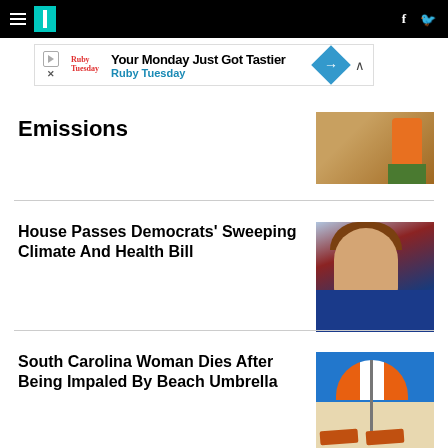HuffPost navigation bar with hamburger menu, logo, Facebook and Twitter icons
[Figure (screenshot): Ruby Tuesday advertisement banner: 'Your Monday Just Got Tastier - Ruby Tuesday']
Emissions
[Figure (photo): Person in orange jacket from behind]
House Passes Democrats' Sweeping Climate And Health Bill
[Figure (photo): Nancy Pelosi smiling in blue jacket]
South Carolina Woman Dies After Being Impaled By Beach Umbrella
[Figure (photo): Orange and white beach umbrella with lounge chairs on sandy beach]